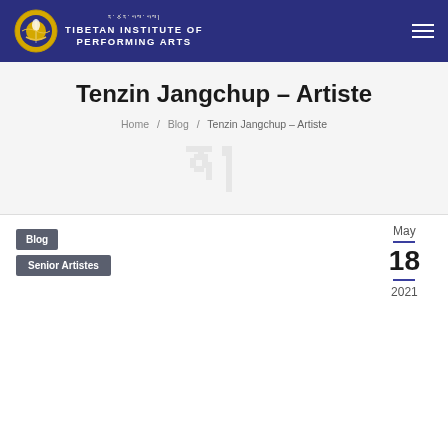TIBETAN INSTITUTE OF PERFORMING ARTS
Tenzin Jangchup – Artiste
Home / Blog / Tenzin Jangchup – Artiste
[Figure (logo): Watermark logo of Tibetan Institute of Performing Arts in light gray]
Blog
Senior Artistes
May 18 2021